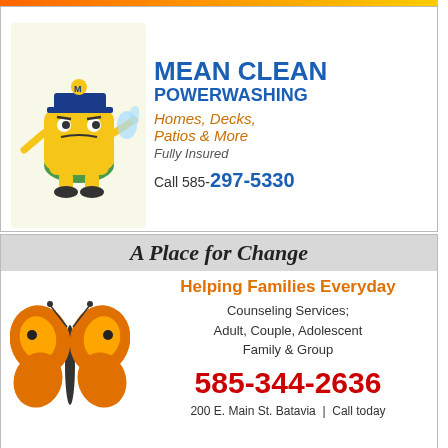[Figure (illustration): Mean Clean Powerwashing advertisement with cartoon sponge mascot. Text: MEAN CLEAN POWERWASHING, Homes, Decks, Patios & More, Fully Insured, Call 585-297-5330]
[Figure (illustration): A Place for Change counseling services ad with butterfly image. Helping Families Everyday. Counseling Services; Adult, Couple, Adolescent Family & Group. 585-344-2636. 200 E. Main St. Batavia | Call today]
[Figure (illustration): Falcone Family Funeral & Cremation Service Inc. ad. Vern C. Falcone. 8700 Lake Road, LeRoy. (585) 768-2400]
[Figure (illustration): Erie East Windows & Doors ad with green arch logo. Call John Today! 585-757-2768]
[Figure (illustration): Partial bottom ad, partially visible]
[Figure (illustration): Tally advertisement banner: Fast credit card payoff. Download Now button.]